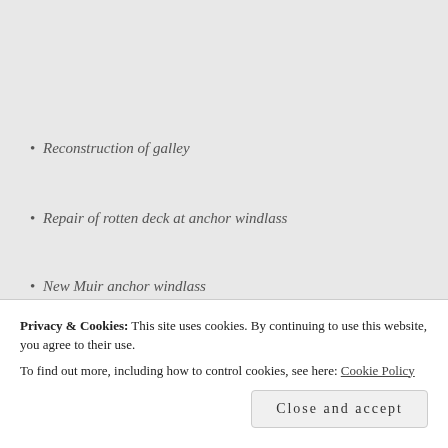Reconstruction of galley
Repair of rotten deck at anchor windlass
New Muir anchor windlass
New bull chains and bull eye stanchions and deck paint
Privacy & Cookies: This site uses cookies. By continuing to use this website, you agree to their use.
To find out more, including how to control cookies, see here: Cookie Policy
Close and accept